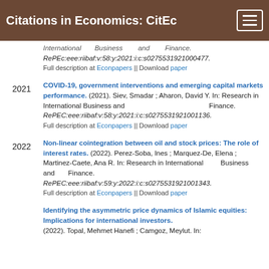Citations in Economics: CitEc
International Business and Finance. RePec:eee:riibaf:v:58:y:2021:i:c:s02755319210004 77.
Full description at Econpapers || Download paper
COVID-19, government interventions and emerging capital markets performance. (2021). Siev, Smadar ; Aharon, David Y. In: Research in International Business and Finance. RePec:eee:riibaf:v:58:y:2021:i:c:s0275531921001136.
Full description at Econpapers || Download paper
Non-linear cointegration between oil and stock prices: The role of interest rates. (2022). Perez-Soba, Ines ; Marquez-De, Elena ; Martinez-Caete, Ana R. In: Research in International Business and Finance. RePec:eee:riibaf:v:59:y:2022:i:c:s0275531921001343.
Full description at Econpapers || Download paper
Identifying the asymmetric price dynamics of Islamic equities: Implications for international investors. (2022). Topal, Mehmet Hanefi ; Camgoz, Meylut. In: